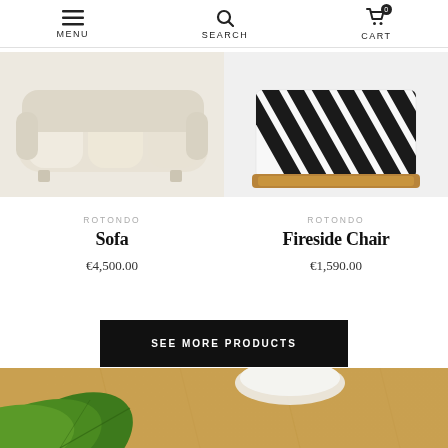MENU | SEARCH | CART (0)
[Figure (photo): Rotondo Sofa product image - cream/off-white modular sofa]
ROTONDO
Sofa
€4,500.00
[Figure (photo): Rotondo Fireside Chair product image - black and white striped ottoman/chair with wooden base]
ROTONDO
Fireside Chair
€1,590.00
SEE MORE PRODUCTS
[Figure (photo): Bottom decorative photo showing tropical green plant leaves against a warm wood surface background]